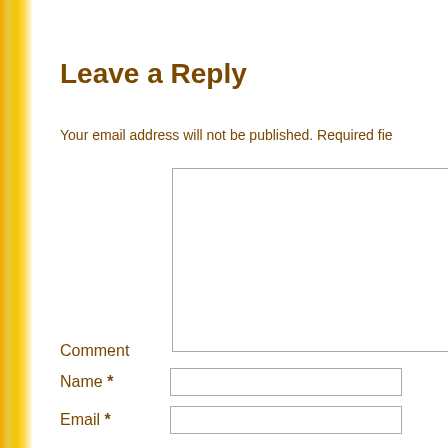Leave a Reply
Your email address will not be published. Required fie
Comment
Name *
Email *
Website
Save my name, email, and website in this browser